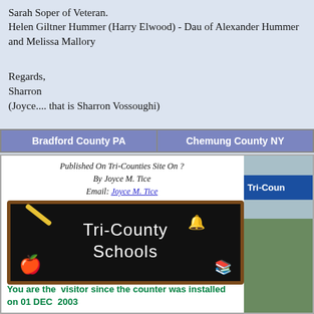Sarah Soper of Veteran.
Helen Giltner Hummer (Harry Elwood) - Dau of Alexander Hummer and Melissa Mallory
Regards,
Sharron
(Joyce.... that is Sharron Vossoughi)
| Bradford County PA | Chemung County NY |
| --- | --- |
Published On Tri-Counties Site On ?
By Joyce M. Tice
Email: Joyce M. Tice
[Figure (illustration): Chalkboard with text 'Tri-County Schools', apple, pencil, bell, and books decorations]
You are the visitor since the counter was installed on 01 DEC 2003